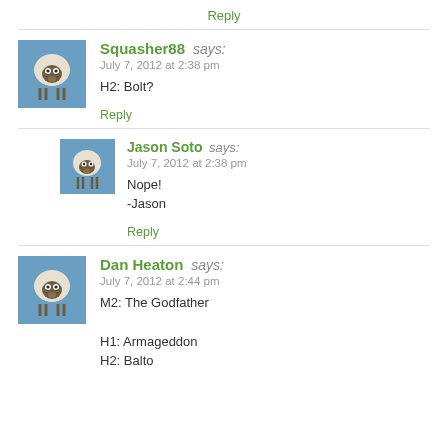Reply
Squasher88 says:
July 7, 2012 at 2:38 pm
H2: Bolt?
Reply
Jason Soto says:
July 7, 2012 at 2:38 pm
Nope!
-Jason
Reply
Dan Heaton says:
July 7, 2012 at 2:44 pm
M2: The Godfather

H1: Armageddon
H2: Balto